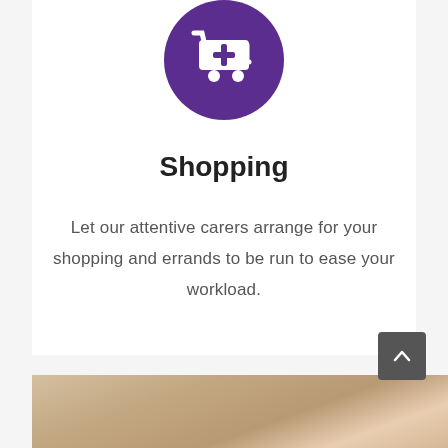[Figure (logo): Purple circle icon with a white shopping cart with a plus/cross sign on it]
Shopping
Let our attentive carers arrange for your shopping and errands to be run to ease your workload.
[Figure (photo): Photo of cozy knitted fabric/clothing items in warm beige and pink tones]